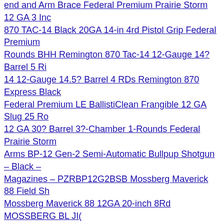end and Arm Brace Federal Premium Prairie Storm 12 GA 3 Inc 870 TAC-14 Black 20GA 14-in 4rd Pistol Grip Federal Premium Rounds BHH Remington 870 Tac-14 12-Gauge 14? Barrel 5 Ri 14 12-Gauge 14.5? Barrel 4 RDs Remington 870 Express Black Federal Premium LE BallistiClean Frangible 12 GA Slug 25 Ro 12 GA 30? Barrel 3?-Chamber 1-Rounds Federal Prairie Storm Arms BP-12 Gen-2 Semi-Automatic Bullpup Shotgun – Black – Magazines – PZRBP12G2BSB Mossberg Maverick 88 Field Sh Mossberg Maverick 88 12GA 20-inch 8Rd MOSSBERG BL JI( PowerShok Buckshot 20 GA 2.75-inch Max Dram 3 Buck 5Rds 14-inch Barrel 6 Rounds Federal H1255 Game SHOK Field 11/ Shockwave 12-Gauge 14? Barrel 6 RDs with Bead Sight Blue N Flat Dark Earth 12 Ga 18.5 inch 6 rd Landor Arms STX 604 Wo Black Cloud 12 Ga 3.5 In 1-1/2 oz Landor Arms BPX 902 12 G Federal BallistiClean Brass .223 Rem 55-Grain 20-Rounds Fra Rounds Optics Ready Federal American Eagle Brass .308 Win : Tactical Pump Shotgun 12 GA 18.5-inch 6Rds Garaysar MKA1 Barrel 5-Rounds Estate Super Sport Competition Target Load 1: Garaysar MKA1919 AP Semi-Automatic Shotgun 12 GA 20? B Barrel 3?-Chamber 4-Rounds Estate Super Sport Competition T Shot 25rds G-Force GFAR12 Semi-Automatic Shotgun 12 GA ; SS12XH19 12GA Super Sport Target 1oz 25rds Dickinson Defe ATAC Warthog Semi-Auto Shotgun 12 GA 20? Barrel 4-Round 12GA Super Sport Target 1oz 25rds Browning Silver Field 12 G Realtree Max-5 Browning BT-99 Adjustable B&C Satin Blue«